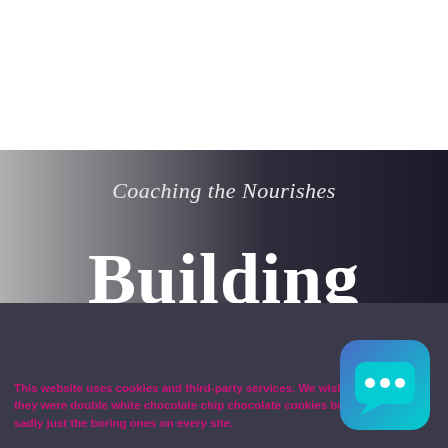Coaching the Nourishes
Building Thriving
This website uses cookies and third-party services. We wish they were double white chocolate chip chocolate cookies but sadly just the boring ones on every site.
[Figure (illustration): Chat/messaging app icon with speech bubble containing ellipsis, gradient blue-to-teal background with rounded corners]